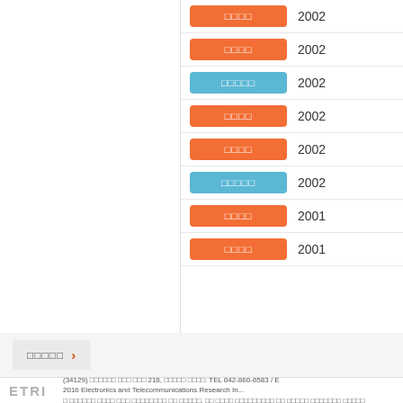□□□□ 2002
□□□□ 2002
□□□□□ 2002
□□□□ 2002
□□□□ 2002
□□□□□ 2002
□□□□ 2001
□□□□ 2001
□□□□□ ›
ETRI (34129) □□□□□□ □□□ □□□ 218, □□□□□ □□□□: TEL 042-860-6583 / E... 2016 Electronics and Telecommunications Research In... □ □□□□□□ □□□□ □□□□ □□□□□□□□ □□ □□□□□, □□ □□□□ □□□□□□□□□ □□ □□□□□ □□□□□□□ □□□□□